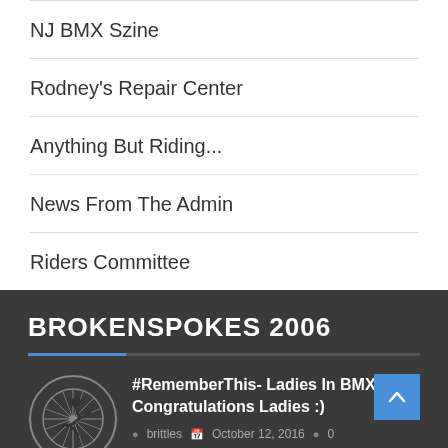NJ BMX Szine
Rodney's Repair Center
Anything But Riding...
News From The Admin
Riders Committee
BROKENSPOKES 2006
[Figure (logo): Circular logo with BMX rider silhouette and wheel graphic]
#RememberThis- Ladies In BMX: Congratulations Ladies :)
brittles   October 12, 2016   0